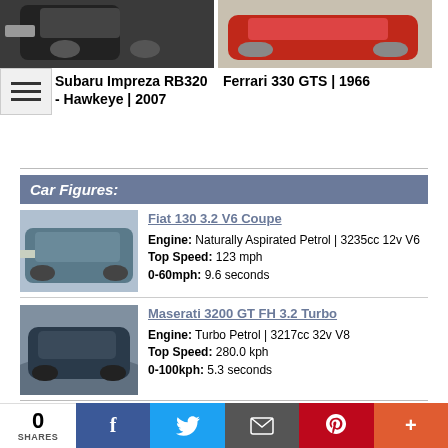[Figure (photo): Top portion of two car photos: a dark Subaru Impreza on the left and a red Ferrari 330 GTS on the right]
Subaru Impreza RB320 - Hawkeye | 2007
Ferrari 330 GTS | 1966
Car Figures:
[Figure (photo): Blue Fiat 130 3.2 V6 Coupe car photo]
Fiat 130 3.2 V6 Coupe
Engine: Naturally Aspirated Petrol | 3235cc 12v V6
Top Speed: 123 mph
0-60mph: 9.6 seconds
[Figure (photo): Dark blue Maserati 3200 GT FH 3.2 Turbo car photo]
Maserati 3200 GT FH 3.2 Turbo
Engine: Turbo Petrol | 3217cc 32v V8
Top Speed: 280.0 kph
0-100kph: 5.3 seconds
0 SHARES | Facebook | Twitter | Email | Pinterest | More